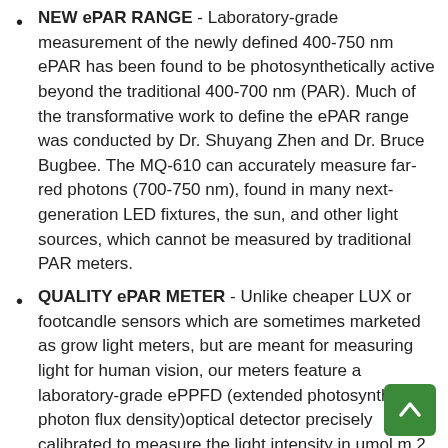NEW ePAR RANGE - Laboratory-grade measurement of the newly defined 400-750 nm ePAR has been found to be photosynthetically active beyond the traditional 400-700 nm (PAR). Much of the transformative work to define the ePAR range was conducted by Dr. Shuyang Zhen and Dr. Bruce Bugbee. The MQ-610 can accurately measure far-red photons (700-750 nm), found in many next-generation LED fixtures, the sun, and other light sources, which cannot be measured by traditional PAR meters.
QUALITY ePAR METER - Unlike cheaper LUX or footcandle sensors which are sometimes marketed as grow light meters, but are meant for measuring light for human vision, our meters feature a laboratory-grade ePPFD (extended photosynthetic photon flux density)optical detector precisely calibrated to measure the light intensity in μmol m 2 s-1 of the specific color wavelengths (including